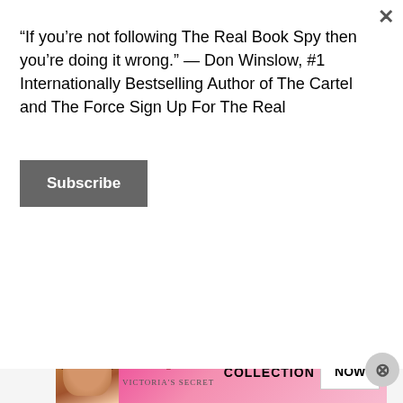“If you’re not following The Real Book Spy then you’re doing it wrong.” — Don Winslow, #1 Internationally Bestselling Author of The Cartel and The Force Sign Up For The Real
Subscribe
[Figure (other): Blue banner strip]
Contact Me
Advertisements
[Figure (other): Victoria's Secret advertisement banner with model, VS logo, 'SHOP THE COLLECTION' text and 'SHOP NOW' button]